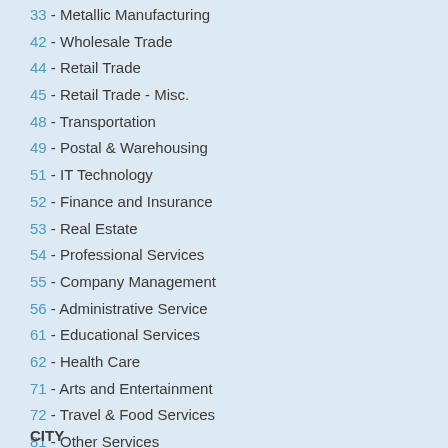33 - Metallic Manufacturing
42 - Wholesale Trade
44 - Retail Trade
45 - Retail Trade - Misc.
48 - Transportation
49 - Postal & Warehousing
51 - IT Technology
52 - Finance and Insurance
53 - Real Estate
54 - Professional Services
55 - Company Management
56 - Administrative Service
61 - Educational Services
62 - Health Care
71 - Arts and Entertainment
72 - Travel & Food Services
81 - Other Services
92 - Public Administration
CITY